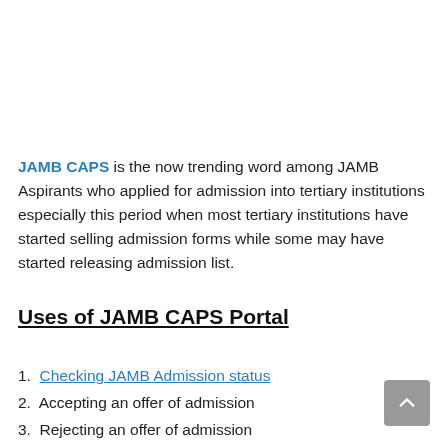JAMB CAPS is the now trending word among JAMB Aspirants who applied for admission into tertiary institutions especially this period when most tertiary institutions have started selling admission forms while some may have started releasing admission list.
Uses of JAMB CAPS Portal
Checking JAMB Admission status
Accepting an offer of admission
Rejecting an offer of admission